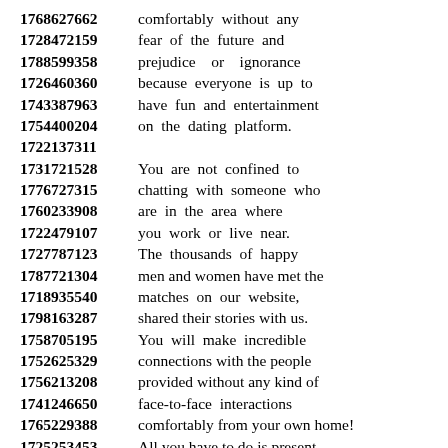1768627662 comfortably without any
1728472159 fear of the future and
1788599358 prejudice or ignorance
1726460360 because everyone is up to
1743387963 have fun and entertainment
1754400204 on the dating platform.
1722137311
1731721528 You are not confined to
1776727315 chatting with someone who
1760233908 are in the area where
1722479107 you work or live near.
1727787123 The thousands of happy
1787721304 men and women have met the
1718935540 matches on our website,
1798163287 shared their stories with us.
1758705195 You will make incredible
1752625329 connections with the people
1756213208 provided without any kind of
1741246650 face-to-face interactions
1765229388 comfortably from your own home!
1725253453 All you have to do is present
1768234302 detailed descriptions and
1740202842 take a look at the ads
1786618379 provided on the Internet for
1767946835 now and start connecting with